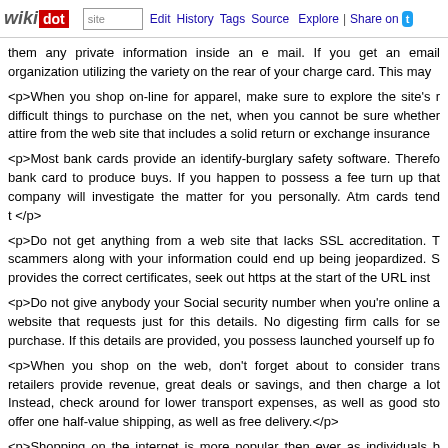wikidot | site | Edit | History | Tags | Source | Explore | Share on [Twitter]
them any private information inside an e mail. If you get an email organization utilizing the variety on the rear of your charge card. This may
<p>When you shop on-line for apparel, make sure to explore the site's r difficult things to purchase on the net, when you cannot be sure whether attire from the web site that includes a solid return or exchange insurance
<p>Most bank cards provide an identify-burglary safety software. Therefo bank card to produce buys. If you happen to possess a fee turn up that company will investigate the matter for you personally. Atm cards tend t </p>
<p>Do not get anything from a web site that lacks SSL accreditation. T scammers along with your information could end up being jeopardized. S provides the correct certificates, seek out https at the start of the URL inst
<p>Do not give anybody your Social security number when you're online a website that requests just for this details. No digesting firm calls for se purchase. If this details are provided, you possess launched yourself up fo
<p>When you shop on the web, don't forget about to consider trans retailers provide revenue, great deals or savings, and then charge a lot Instead, check around for lower transport expenses, as well as good sto offer one half-value shipping, as well as free delivery.</p>
<p>Shopping on the internet is more popular then ever as individuals b troubles and the frustration of conventional shops may be avoided. You more as a consequence of delivery but if you a real gas, time and effo surprised.</p>